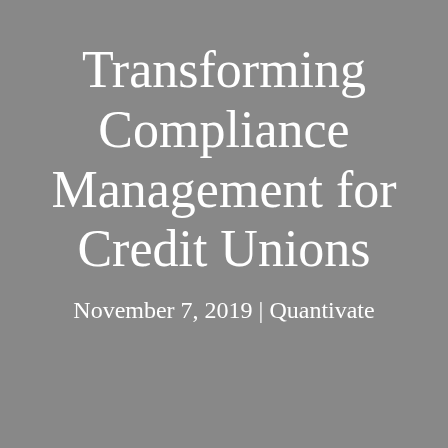Transforming Compliance Management for Credit Unions
November 7, 2019  |  Quantivate